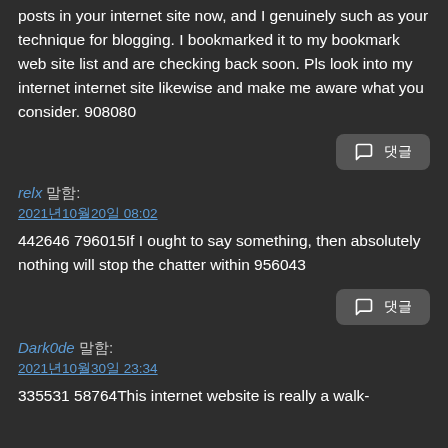posts in your internet site now, and I genuinely such as your technique for blogging. I bookmarked it to my bookmark web site list and are checking back soon. Pls look into my internet internet site likewise and make me aware what you consider. 908080
댓글
relx 말함:
2021년10월20일 08:02
442646 796015If I ought to say something, then absolutely nothing will stop the chatter within 956043
댓글
Dark0de 말함:
2021년10월30일 23:34
335531 58764This internet website is really a walk-